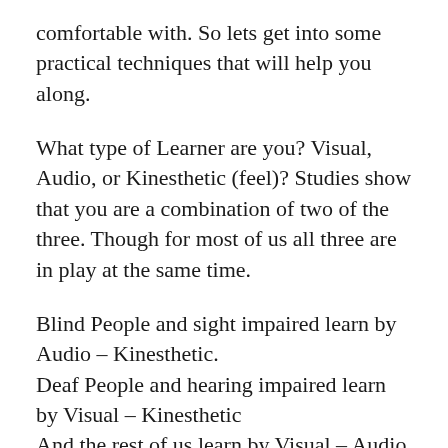comfortable with. So lets get into some practical techniques that will help you along.
What type of Learner are you? Visual, Audio, or Kinesthetic (feel)? Studies show that you are a combination of two of the three. Though for most of us all three are in play at the same time.
Blind People and sight impaired learn by Audio – Kinesthetic.
Deaf People and hearing impaired learn by Visual – Kinesthetic
And the rest of us learn by Visual – Audio or Visual – Kinesthetic